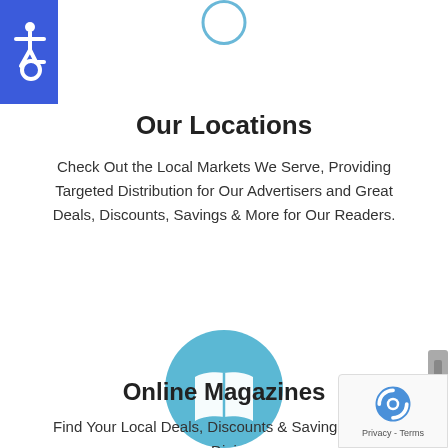[Figure (illustration): Partial light blue circle icon cropped at top of page]
[Figure (logo): Accessibility icon - white wheelchair symbol on dark blue square background]
Our Locations
Check Out the Local Markets We Serve, Providing Targeted Distribution for Our Advertisers and Great Deals, Discounts, Savings & More for Our Readers.
[Figure (illustration): Light blue circle with white open book icon in center]
Online Magazines
Find Your Local Deals, Discounts & Savings Now in Digi...